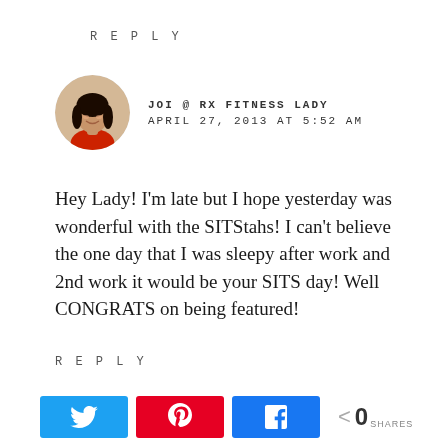REPLY
JOI @ RX FITNESS LADY
APRIL 27, 2013 AT 5:52 AM
[Figure (photo): Circular avatar photo of a woman with long dark hair wearing a red top]
Hey Lady! I'm late but I hope yesterday was wonderful with the SITStahs! I can't believe the one day that I was sleepy after work and 2nd work it would be your SITS day! Well CONGRATS on being featured!
REPLY
[Figure (infographic): Social share bar with Twitter, Pinterest, Facebook buttons and a share count of 0]